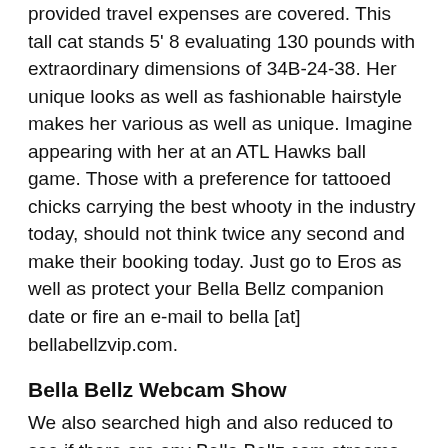provided travel expenses are covered. This tall cat stands 5' 8 evaluating 130 pounds with extraordinary dimensions of 34B-24-38. Her unique looks as well as fashionable hairstyle makes her various as well as unique. Imagine appearing with her at an ATL Hawks ball game. Those with a preference for tattooed chicks carrying the best whooty in the industry today, should not think twice any second and make their booking today. Just go to Eros as well as protect your Bella Bellz companion date or fire an e-mail to bella [at] bellabellzvip.com.
Bella Bellz Webcam Show
We also searched high and also reduced to see if there are any Bella Bellz cam streams offered and also this unfortunately does not appear to be the situation. When she isn't shooting porn, she's either cooling or stripping it appears. Possibly it's something